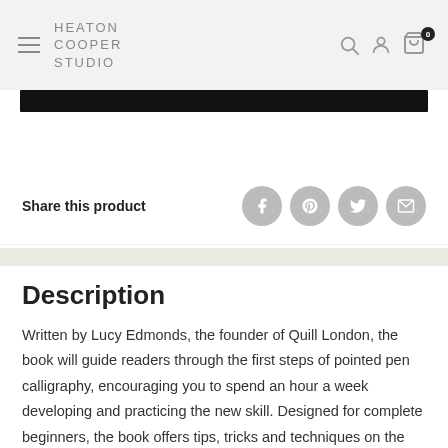HEATON COOPER STUDIO
[Figure (screenshot): Black progress/loading bar near the top of the page]
Share this product
Description
Written by Lucy Edmonds, the founder of Quill London, the book will guide readers through the first steps of pointed pen calligraphy, encouraging you to spend an hour a week developing and practicing the new skill. Designed for complete beginners, the book offers tips, tricks and techniques on the materials required and how